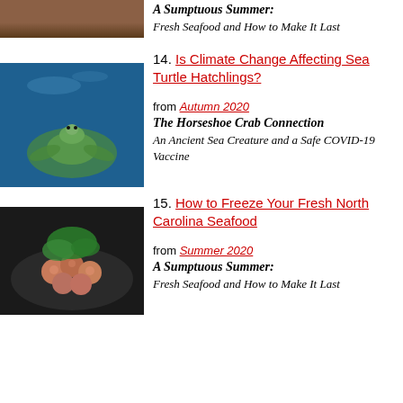[Figure (photo): Partial top image of wooden seafood/dock scene, cropped at top of page]
A Sumptuous Summer:
Fresh Seafood and How to Make It Last
14. Is Climate Change Affecting Sea Turtle Hatchlings?
[Figure (photo): Sea turtle swimming underwater in blue ocean water]
from Autumn 2020
The Horseshoe Crab Connection
An Ancient Sea Creature and a Safe COVID-19 Vaccine
15. How to Freeze Your Fresh North Carolina Seafood
[Figure (photo): Plate of seafood (shrimp/shellfish) with green garnish on dark plate]
from Summer 2020
A Sumptuous Summer:
Fresh Seafood and How to Make It Last